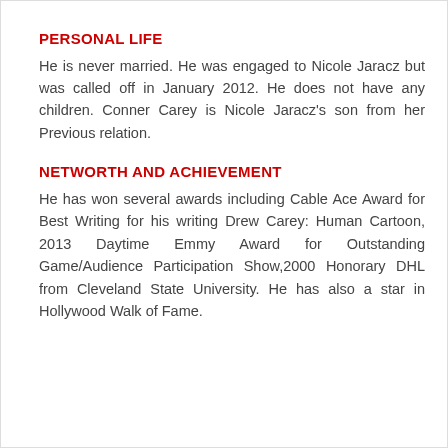PERSONAL LIFE
He is never married. He was engaged to Nicole Jaracz but was called off in January 2012. He does not have any children. Conner Carey is Nicole Jaracz's son from her Previous relation.
NETWORTH AND ACHIEVEMENT
He has won several awards including Cable Ace Award for Best Writing for his writing Drew Carey: Human Cartoon, 2013 Daytime Emmy Award for Outstanding Game/Audience Participation Show,2000 Honorary DHL from Cleveland State University. He has also a star in Hollywood Walk of Fame.